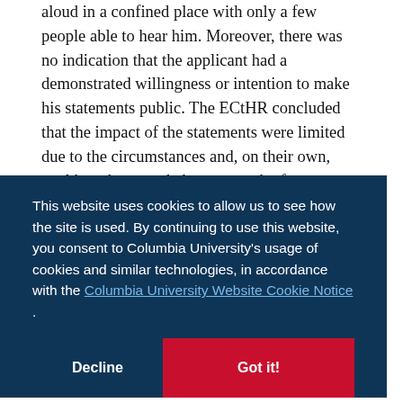aloud in a confined place with only a few people able to hear him. Moreover, there was no indication that the applicant had a demonstrated willingness or intention to make his statements public. The ECtHR concluded that the impact of the statements were limited due to the circumstances and, on their own, could not be regarded as an attack of any gravity to Atatürk's memory.
[Figure (screenshot): Cookie consent overlay from Columbia University website. Dark navy blue background with white text reading: 'This website uses cookies to allow us to see how the site is used. By continuing to use this website, you consent to Columbia University's usage of cookies and similar technologies, in accordance with the Columbia University Website Cookie Notice.' Two buttons at bottom: 'Decline' (left, dark navy) and 'Got it!' (right, red).]
The applicant's conviction for insult had not been "necessary